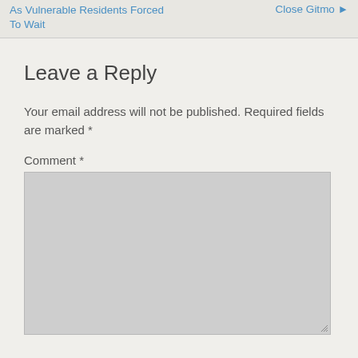As Vulnerable Residents Forced To Wait | Close Gitmo
Leave a Reply
Your email address will not be published. Required fields are marked *
Comment *